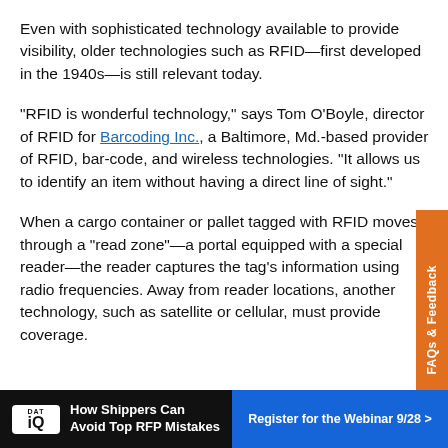Even with sophisticated technology available to provide visibility, older technologies such as RFID—first developed in the 1940s—is still relevant today.
"RFID is wonderful technology," says Tom O'Boyle, director of RFID for Barcoding Inc., a Baltimore, Md.-based provider of RFID, bar-code, and wireless technologies. "It allows us to identify an item without having a direct line of sight."
When a cargo container or pallet tagged with RFID moves through a "read zone"—a portal equipped with a special reader—the reader captures the tag's information using radio frequencies. Away from reader locations, another technology, such as satellite or cellular, must provide coverage.
[Figure (infographic): DAT iQ banner advertisement: 'How Shippers Can Avoid Top RFP Mistakes' with 'Register for the Webinar 9/28 >' call to action button]